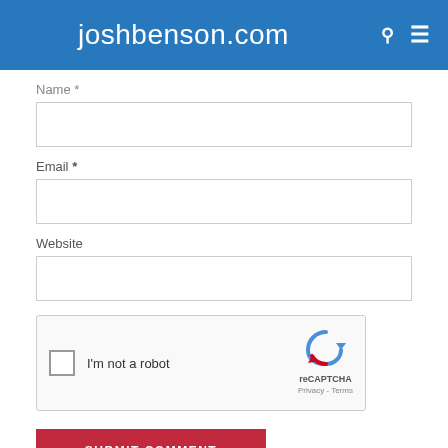joshbenson.com
Name *
Email *
Website
[Figure (other): reCAPTCHA widget with checkbox labeled 'I'm not a robot' and reCAPTCHA logo with Privacy and Terms links]
SUBMIT COMMENT